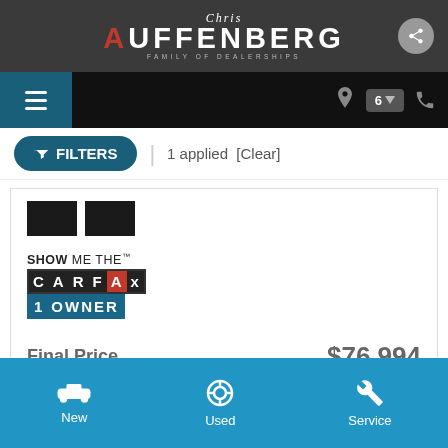Chris Auffenberg Family of Dealerships
FILTERS | 1 applied [Clear]
[Figure (logo): Show Me The CARFAX 1 Owner badge/logo]
Final Price $76,994
New  Used  Service